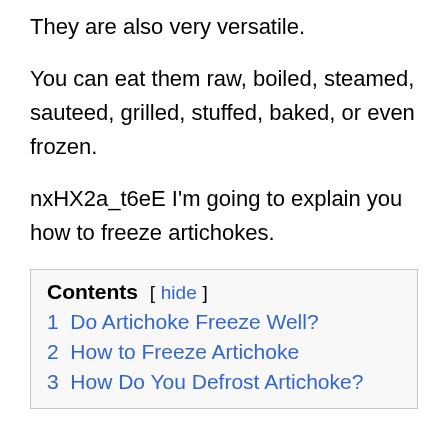They are also very versatile.
You can eat them raw, boiled, steamed, sauteed, grilled, stuffed, baked, or even frozen.
nxHX2a_t6eE I'm going to explain you how to freeze artichokes.
Contents [ hide ]
1 Do Artichoke Freeze Well?
2 How to Freeze Artichoke
3 How Do You Defrost Artichoke?